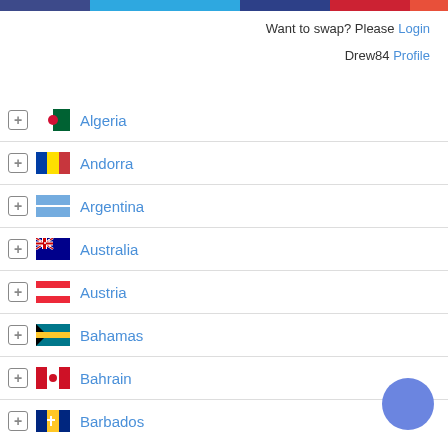Want to swap? Please Login | Drew84 Profile
Algeria
Andorra
Argentina
Australia
Austria
Bahamas
Bahrain
Barbados